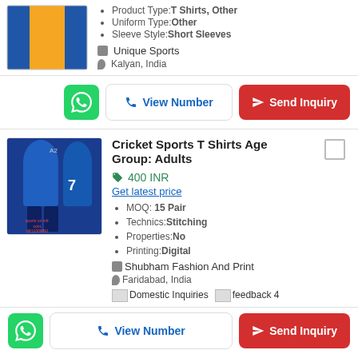[Figure (photo): Cricket jersey image - orange and blue uniform, partially visible]
Product Type:T Shirts, Other
Uniform Type:Other
Sleeve Style:Short Sleeves
Unique Sports
Kalyan, India
View Number | Send Inquiry (action buttons)
Cricket Sports T Shirts Age Group: Adults
400 INR
Get latest price
MOQ: 15 Pair
Technics:Stitching
Properties:No
Printing:Digital
Shubham Fashion And Print
Faridabad, India
Domestic Inquiries  feedback 4
View Number | Send Inquiry (action buttons)